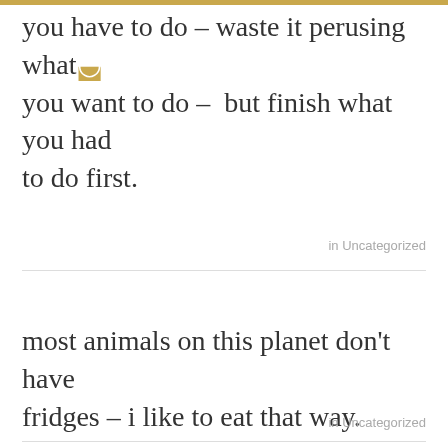you have to do – waste it perusing what you want to do –  but finish what you had to do first.
in Uncategorized
most animals on this planet don't have fridges – i like to eat that way.
in Uncategorized